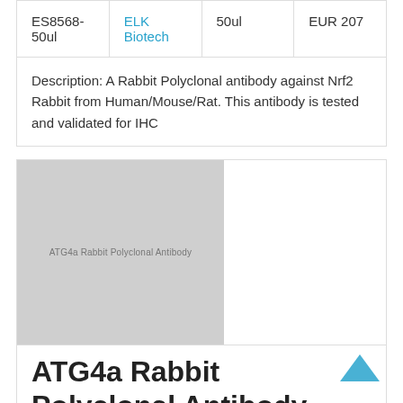| Product ID | Brand | Volume | Price |
| --- | --- | --- | --- |
| ES8568-50ul | ELK Biotech | 50ul | EUR 207 |
Description: A Rabbit Polyclonal antibody against Nrf2 Rabbit from Human/Mouse/Rat. This antibody is tested and validated for IHC
[Figure (photo): Placeholder image for ATG4a Rabbit Polyclonal Antibody product]
ATG4a Rabbit Polyclonal Antibody
| Product ID | Brand | Volume | Price |
| --- | --- | --- | --- |
| ES8569-100ul | ELK Biotech | 100ul | EUR 279 |
Description: A Rabbit Polyclonal antibody against ATG4a Rabbit from Human/Mouse/Rat. This